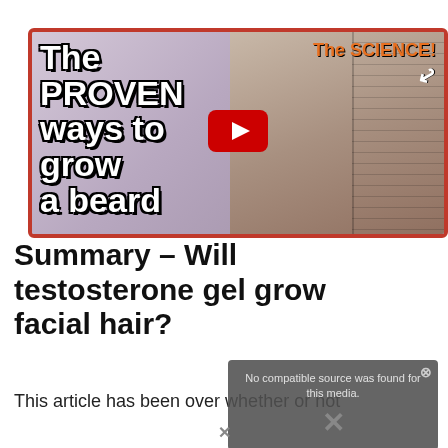[Figure (screenshot): YouTube video thumbnail showing a bearded man holding a notebook, with text 'The PROVEN ways to grow a beard' on the left and 'The SCIENCE!' in orange on the top right, with a YouTube play button in the center. Orange border frame.]
Summary – Will testosterone gel grow facial hair?
This article has been over whether or not
[Figure (screenshot): Video player overlay showing 'No compatible source was found for this media.' with an X icon, grayed out overlay in bottom right.]